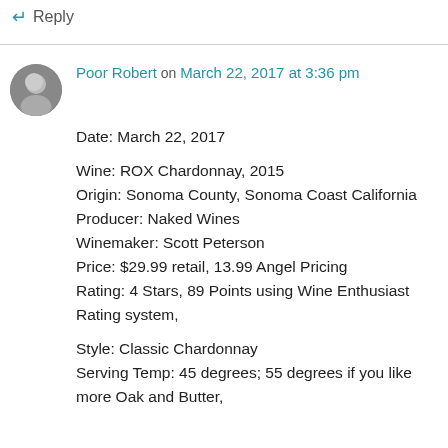↵ Reply
Poor Robert on March 22, 2017 at 3:36 pm
Date: March 22, 2017

Wine: ROX Chardonnay, 2015
Origin: Sonoma County, Sonoma Coast California
Producer: Naked Wines
Winemaker: Scott Peterson
Price: $29.99 retail, 13.99 Angel Pricing
Rating: 4 Stars, 89 Points using Wine Enthusiast Rating system,

Style: Classic Chardonnay
Serving Temp: 45 degrees; 55 degrees if you like more Oak and Butter,